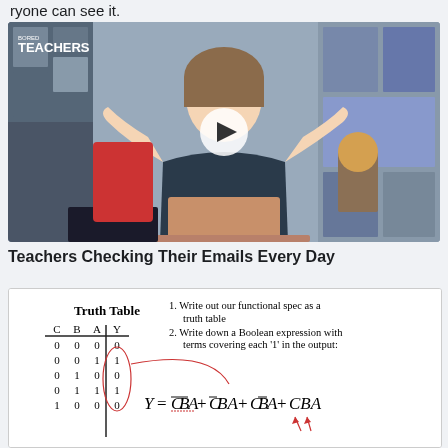ryone can see it.
[Figure (screenshot): Video thumbnail showing a teacher with hands raised in front of a laptop, with 'BORED TEACHERS' logo in top left and a play button in the center.]
Teachers Checking Their Emails Every Day
[Figure (other): Truth table and Boolean expression diagram. Truth table with columns C, B, A, Y showing 5 rows: 0 0 0|0, 0 0 1|1, 0 1 0|0, 0 1 1|1, 1 0 0|0. Instructions: 1. Write out our functional spec as a truth table. 2. Write down a Boolean expression with terms covering each '1' in the output. Formula: Y = C̄B̄A + C̄BA + CB̄A + CBA with annotations.]